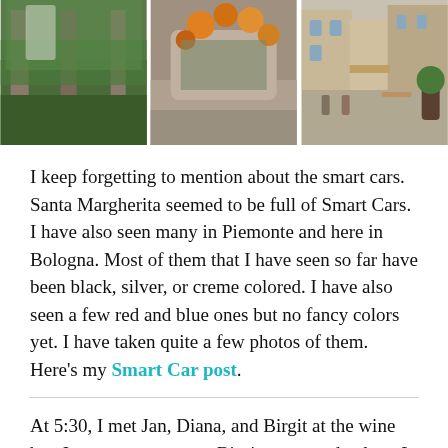[Figure (photo): Three travel photographs in a horizontal strip: left shows a green hedge with stone pillars, center shows orange flowers growing on a stone structure, right shows an outdoor café scene in an Italian piazza with buildings.]
I keep forgetting to mention about the smart cars. Santa Margherita seemed to be full of Smart Cars. I have also seen many in Piemonte and here in Bologna. Most of them that I have seen so far have been black, silver, or creme colored. I have also seen a few red and blue ones but no fancy colors yet. I have taken quite a few photos of them. Here's my Smart Car post.
At 5:30, I met Jan, Diana, and Birgit at the wine bar. It was not open yet. Birgit suggested gelato. It didn't take any twisting arms for me or Jan. I had a wonderful pesca e anguria (peach and watermelon) gelato. We headed back to the wine bar after our